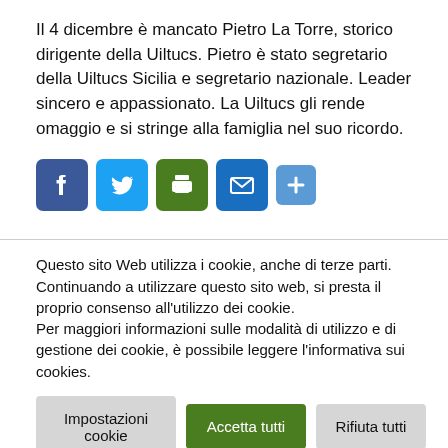Il 4 dicembre è mancato Pietro La Torre, storico dirigente della Uiltucs. Pietro è stato segretario della Uiltucs Sicilia e segretario nazionale. Leader sincero e appassionato. La Uiltucs gli rende omaggio e si stringe alla famiglia nel suo ricordo.
[Figure (infographic): Social sharing icons: Facebook (blue), Twitter (light blue), Print (green), Email (blue), More/Plus (blue)]
Questo sito Web utilizza i cookie, anche di terze parti. Continuando a utilizzare questo sito web, si presta il proprio consenso all'utilizzo dei cookie. Per maggiori informazioni sulle modalità di utilizzo e di gestione dei cookie, è possibile leggere l'informativa sui cookies.
Impostazioni cookie | Accetta tutti | Rifiuta tutti
Leggi tutto